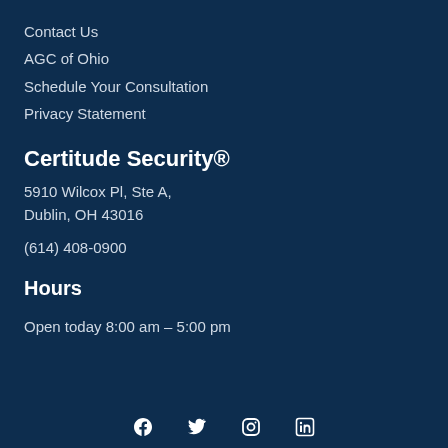Contact Us
AGC of Ohio
Schedule Your Consultation
Privacy Statement
Certitude Security®
5910 Wilcox Pl, Ste A,
Dublin, OH 43016
(614) 408-0900
Hours
Open today 8:00 am – 5:00 pm
[Figure (infographic): Social media icons row: Facebook, Twitter/X, Instagram, LinkedIn — white icons on dark navy background]